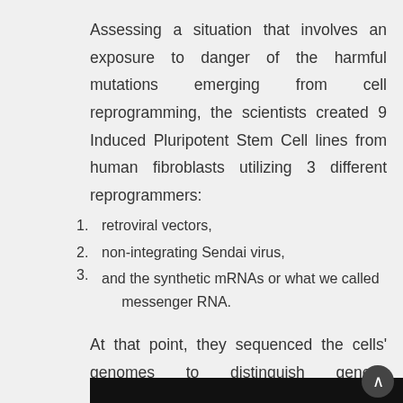Assessing a situation that involves an exposure to danger of the harmful mutations emerging from cell reprogramming, the scientists created 9 Induced Pluripotent Stem Cell lines from human fibroblasts utilizing 3 different reprogrammers:
1. retroviral vectors,
2. non-integrating Sendai virus,
3. and the synthetic mRNAs or what we called messenger RNA.
At that point, they sequenced the cells' genomes to distinguish genetic differences.
[Figure (photo): Dark/black image area, partially visible at bottom of page, with a scroll-to-top button in the lower right corner.]